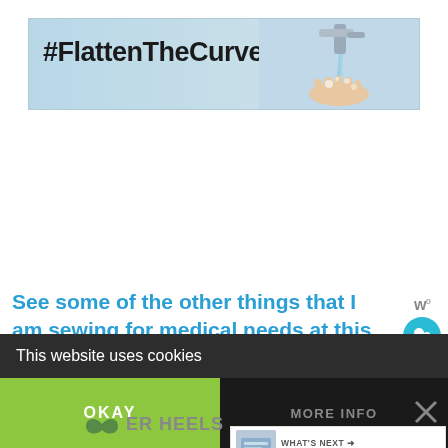[Figure (infographic): #FlattenTheCurve banner advertisement with hand washing image]
See some of the other things that I am sewing for medical needs at this time.
Including this different face mask pattern, the Olsen pattern, which comes in adult and child siz
[Figure (infographic): What's Next: How To Make A Hexagon Z...]
This website uses cookies
OKAY
MORE INFO